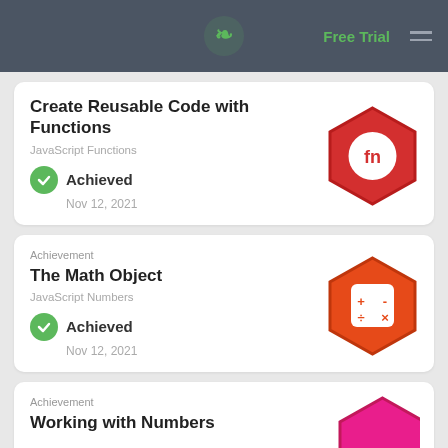Free Trial
Create Reusable Code with Functions
JavaScript Functions
Achieved
Nov 12, 2021
[Figure (illustration): Red hexagon badge with 'fn' text inside a white circle]
Achievement
The Math Object
JavaScript Numbers
Achieved
Nov 12, 2021
[Figure (illustration): Orange hexagon badge with math operators icon (+ - ÷ x) inside a white rounded square]
Achievement
Working with Numbers